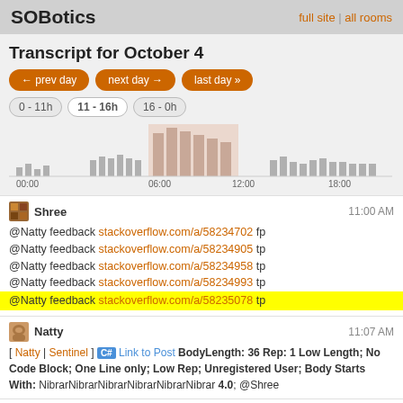SOBotics | full site | all rooms
Transcript for October 4
← prev day
next day →
last day »
0 - 11h
11 - 16h
16 - 0h
[Figure (bar-chart): Activity timeline]
Shree 11:00 AM
@Natty feedback stackoverflow.com/a/58234702 fp
@Natty feedback stackoverflow.com/a/58234905 tp
@Natty feedback stackoverflow.com/a/58234958 tp
@Natty feedback stackoverflow.com/a/58234993 tp
@Natty feedback stackoverflow.com/a/58235078 tp
Natty 11:07 AM
[ Natty | Sentinel ] C# Link to Post BodyLength: 36 Rep: 1 Low Length; No Code Block; One Line only; Low Rep; Unregistered User; Body Starts With: NibrarNibrarNibrarNibrarNibrarNibrar 4.0; @Shree
Shree 11:10 AM
@Natty Mod flag for duplicate the same content.